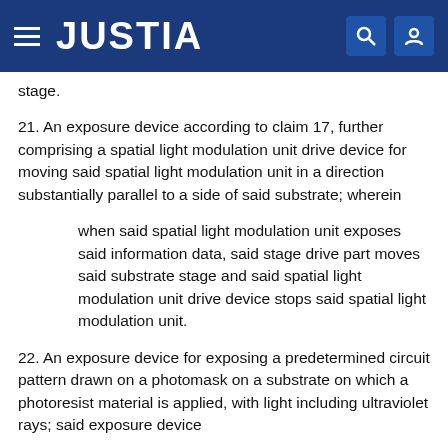JUSTIA
stage.
21. An exposure device according to claim 17, further comprising a spatial light modulation unit drive device for moving said spatial light modulation unit in a direction substantially parallel to a side of said substrate; wherein
when said spatial light modulation unit exposes said information data, said stage drive part moves said substrate stage and said spatial light modulation unit drive device stops said spatial light modulation unit.
22. An exposure device for exposing a predetermined circuit pattern drawn on a photomask on a substrate on which a photoresist material is applied, with light including ultraviolet rays; said exposure device